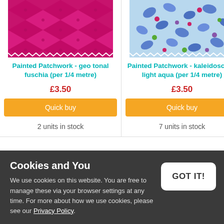[Figure (photo): Fabric swatch - pink/fuschia geometric diamond patchwork pattern with zigzag edge]
[Figure (photo): Fabric swatch - light aqua blue with blue leaves/berries floral pattern with zigzag edge]
Painted Patchwork - geo tonal fuschia (per 1/4 metre)
Painted Patchwork - kaleidoscope light aqua (per 1/4 metre)
£3.50
£3.50
Quick buy
Quick buy
2 units in stock
7 units in stock
Cookies and You
We use cookies on this website. You are free to manage these via your browser settings at any time. For more about how we use cookies, please see our Privacy Policy.
GOT IT!